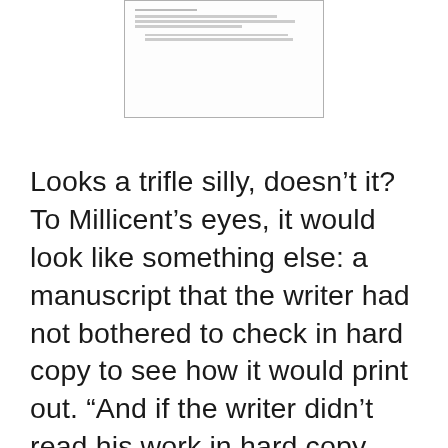[Figure (illustration): Small thumbnail image of a manuscript page with text lines]
Looks a trifle silly, doesn't it? To Millicent's eyes, it would look like something else: a manuscript that the writer had not bothered to check in hard copy to see how it would print out. “And if the writer didn’t read his work in hard copy before sending it to my boss,” she reasons, “he probably didn’t bother to proofread it, either.”
Not an instant-rejection offense, certainly, but not the impression of how serious you are about your writing that you would prefer she